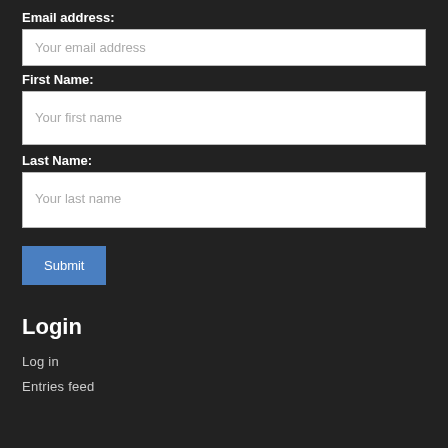Email address:
[Figure (other): Email address input field with placeholder 'Your email address']
First Name:
[Figure (other): First name input field with placeholder 'Your first name']
Last Name:
[Figure (other): Last name input field with placeholder 'Your last name']
[Figure (other): Submit button]
Login
Log in
Entries feed